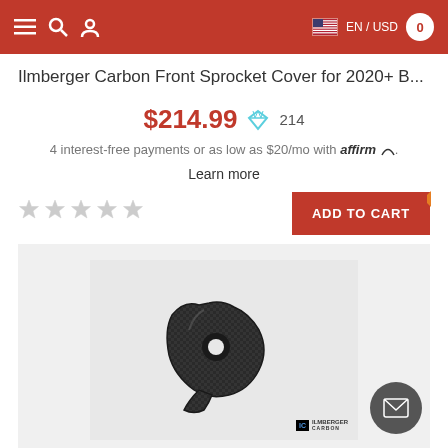EN / USD  0
Ilmberger Carbon Front Sprocket Cover for 2020+ B...
$214.99  214
4 interest-free payments or as low as $20/mo with affirm.
Learn more
[Figure (screenshot): Five empty star rating icons in gray]
[Figure (photo): Carbon fiber front sprocket cover part with Ilmberger Carbon logo watermark on white/light gray background]